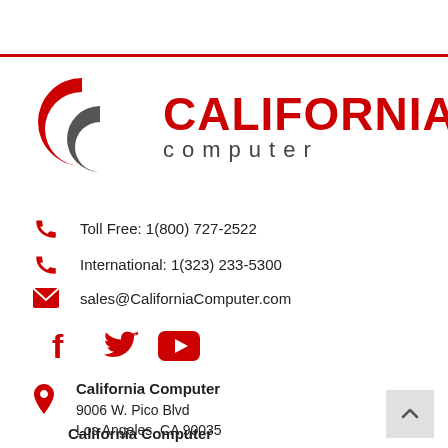[Figure (logo): California Computer logo with two interlocking C shapes (red and dark gray) and text CALIFORNIA computer in red/dark]
Toll Free: 1(800) 727-2522
International: 1(323) 233-5300
sales@CaliforniaComputer.com
[Figure (illustration): Social media icons: Facebook, Twitter, YouTube in red]
California Computer
9006 W. Pico Blvd
Los Angeles, CA 90035
California Computer